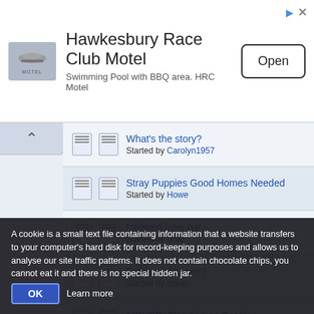[Figure (screenshot): Advertisement banner for Hawkesbury Race Club Motel with logo, title, subtitle, and Open button]
What's the story? Started by Carolyn1957
Stray Puppies Good Homes Needed Started by Howe
followed from bar Started by oniki
Fethiye take over? Started by stoop
MOVED: Flooding on Saglik Started by stoop
The Old Takins Bar Started by TIGER
A cookie is a small text file containing information that a website transfers to your computer's hard disk for record-keeping purposes and allows us to analyse our site traffic patterns. It does not contain chocolate chips, you cannot eat it and there is no special hidden jar. OK Learn more